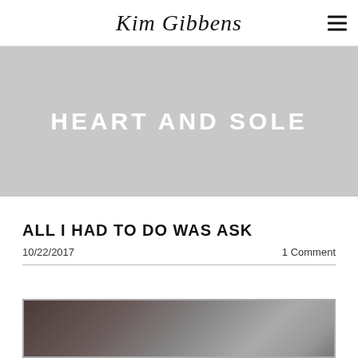Kim Gibbens
HEART AND SOLE
ALL I HAD TO DO WAS ASK
10/22/2017
1 Comment
[Figure (photo): A selfie-style photograph with a person visible, dark tones, appears to be taken indoors with a mirror or glass reflection]